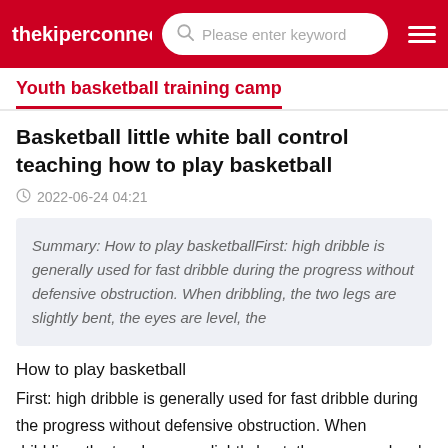thekiperconnecti | Please enter keyword
Youth basketball training camp
Basketball little white ball control teaching how to play basketball
2022-06-24 04:21
Summary: How to play basketballFirst: high dribble is generally used for fast dribble during the progress without defensive obstruction. When dribbling, the two legs are slightly bent, the eyes are level, the
How to play basketball
First: high dribble is generally used for fast dribble during the progress without defensive obstruction. When dribbling, the two legs are slightly bent, the eyes are level, the hands are forced to push the ball forward and down, the ball falls in